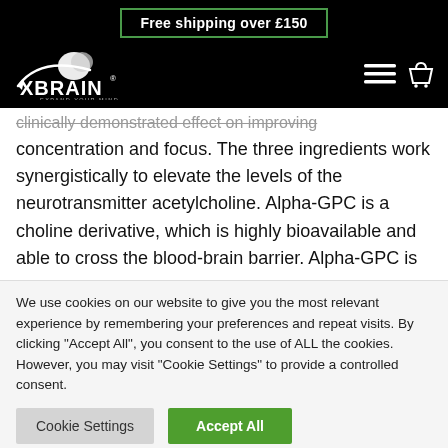Free shipping over £150
[Figure (logo): XBrain logo — white brain icon with 'XBRAIN EXPAND YOUR MIND' text on black background]
clinically demonstrated effect on improving concentration and focus. The three ingredients work synergistically to elevate the levels of the neurotransmitter acetylcholine. Alpha-GPC is a choline derivative, which is highly bioavailable and able to cross the blood-brain barrier. Alpha-GPC is
We use cookies on our website to give you the most relevant experience by remembering your preferences and repeat visits. By clicking "Accept All", you consent to the use of ALL the cookies. However, you may visit "Cookie Settings" to provide a controlled consent.
Cookie Settings | Accept All